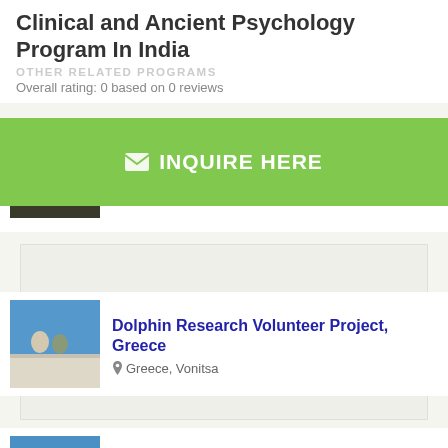Clinical and Ancient Psychology Program In India
OTHER RELATED PROGRAMS
Overall rating: 0 based on 0 reviews
✉ INQUIRE HERE
Children of Fire
South Africa, Johannesburg
[Figure (photo): Thumbnail photo for Children of Fire program]
[Figure (photo): Thumbnail photo showing two people on a boat - Dolphin Research Volunteer Project, Greece]
Dolphin Research Volunteer Project, Greece
Greece, Vonitsa